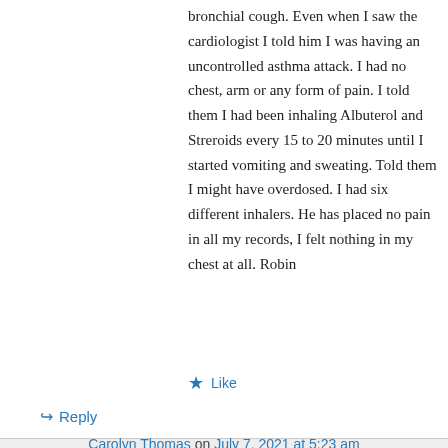bronchial cough. Even when I saw the cardiologist I told him I was having an uncontrolled asthma attack. I had no chest, arm or any form of pain. I told them I had been inhaling Albuterol and Streroids every 15 to 20 minutes until I started vomiting and sweating. Told them I might have overdosed. I had six different inhalers. He has placed no pain in all my records, I felt nothing in my chest at all. Robin
Like
Reply
Carolyn Thomas on July 7, 2021 at 5:23 am